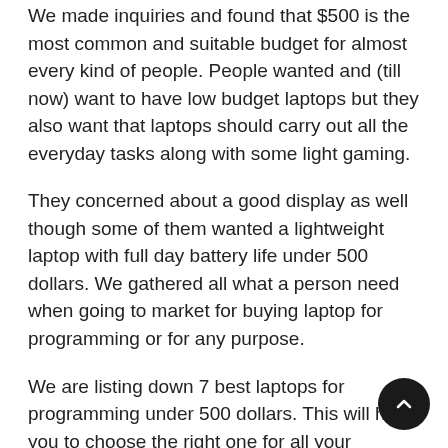We made inquiries and found that $500 is the most common and suitable budget for almost every kind of people. People wanted and (till now) want to have low budget laptops but they also want that laptops should carry out all the everyday tasks along with some light gaming.
They concerned about a good display as well though some of them wanted a lightweight laptop with full day battery life under 500 dollars. We gathered all what a person need when going to market for buying laptop for programming or for any purpose.
We are listing down 7 best laptops for programming under 500 dollars. This will help you to choose the right one for all your requirement and need. These are not for programming only but for coding, developing and all desire purpose.
Here, I would mention that some laptops are little bit high price such as $519, $550 $590, $650 or $700 etc. This is much amount as you can't pay for. If there's best laptop you